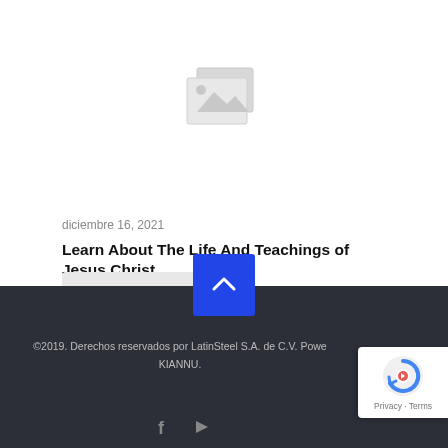[Figure (illustration): Placeholder image icon — two overlapping grey image frames with a mountain/landscape placeholder graphic]
diciembre 16, 2021
Learn About The Life And Teachings of Jesus Christ
[Figure (other): Read more button with icon, greyed out rectangular button]
[Figure (other): Blue square button with white upward chevron arrow, scroll-to-top button]
©2019. Derechos reservados por LatinSteel S.A. de C.V. Powered by KIANNU.
[Figure (other): Social media icons: Facebook and Play/forward icon in grey at bottom of footer]
[Figure (other): reCAPTCHA badge with Google logo and Privacy - Terms text]